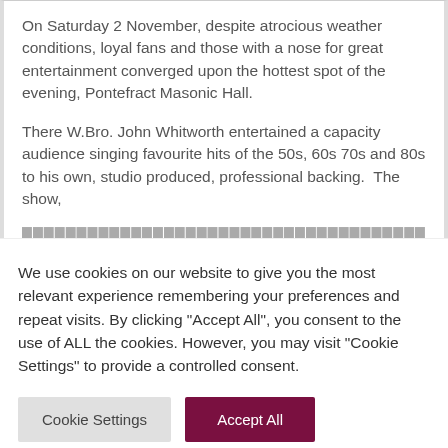On Saturday 2 November, despite atrocious weather conditions, loyal fans and those with a nose for great entertainment converged upon the hottest spot of the evening, Pontefract Masonic Hall.
There W.Bro. John Whitworth entertained a capacity audience singing favourite hits of the 50s, 60s 70s and 80s to his own, studio produced, professional backing.  The show,
We use cookies on our website to give you the most relevant experience remembering your preferences and repeat visits. By clicking "Accept All", you consent to the use of ALL the cookies. However, you may visit "Cookie Settings" to provide a controlled consent.